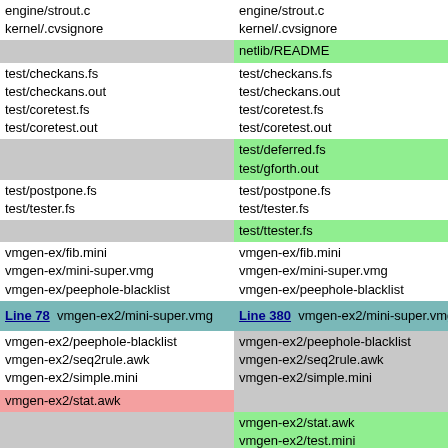| Left | Right |
| --- | --- |
| engine/strout.c
kernel/.cvsignore | engine/strout.c
kernel/.cvsignore |
|  | netlib/README |
| test/checkans.fs
test/checkans.out
test/coretest.fs
test/coretest.out | test/checkans.fs
test/checkans.out
test/coretest.fs
test/coretest.out |
|  | test/deferred.fs
test/gforth.out |
| test/postpone.fs
test/tester.fs | test/postpone.fs
test/tester.fs |
|  | test/ttester.fs |
| vmgen-ex/fib.mini
vmgen-ex/mini-super.vmg
vmgen-ex/peephole-blacklist | vmgen-ex/fib.mini
vmgen-ex/mini-super.vmg
vmgen-ex/peephole-blacklist |
| Line 78  vmgen-ex2/mini-super.vmg | Line 380  vmgen-ex2/mini-super.vmg |
| vmgen-ex2/peephole-blacklist
vmgen-ex2/seq2rule.awk
vmgen-ex2/simple.mini
vmgen-ex2/stat.awk | vmgen-ex2/peephole-blacklist
vmgen-ex2/seq2rule.awk
vmgen-ex2/simple.mini |
|  | vmgen-ex2/stat.awk
vmgen-ex2/test.mini
vmgen-ex2/test.out
wordlibs/README |